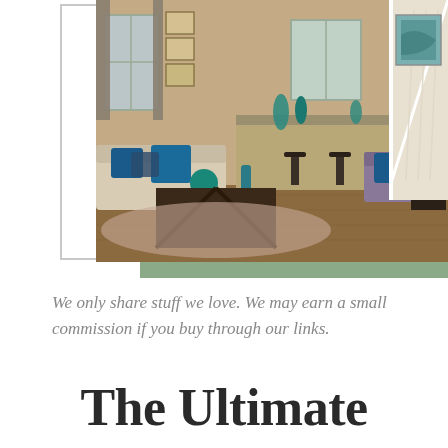[Figure (photo): Interior photo of a modern living room with teal/blue accent pillows on a sofa, a dark wooden coffee table, bar stools at a kitchen counter, a staircase with white railing, and warm wood floors. A green rectangular block appears at the bottom of the image frame.]
We only share stuff we love. We may earn a small commission if you buy through our links.
The Ultimate